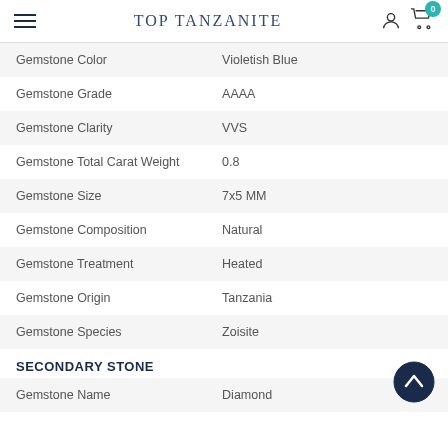TOP TANZANITE
| Attribute | Value |
| --- | --- |
| Gemstone Color | Violetish Blue |
| Gemstone Grade | AAAA |
| Gemstone Clarity | VVS |
| Gemstone Total Carat Weight | 0.8 |
| Gemstone Size | 7x5 MM |
| Gemstone Composition | Natural |
| Gemstone Treatment | Heated |
| Gemstone Origin | Tanzania |
| Gemstone Species | Zoisite |
SECONDARY STONE
| Attribute | Value |
| --- | --- |
| Gemstone Name | Diamond |